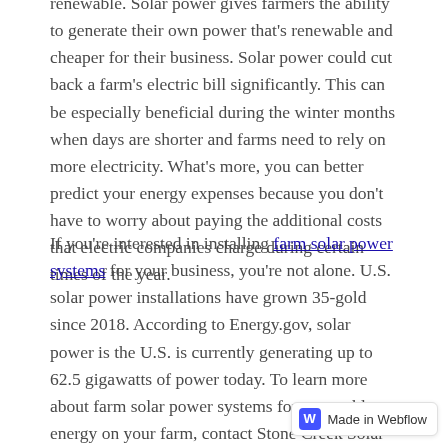renewable. Solar power gives farmers the ability to generate their own power that's renewable and cheaper for their business. Solar power could cut back a farm's electric bill significantly. This can be especially beneficial during the winter months when days are shorter and farms need to rely on more electricity. What's more, you can better predict your energy expenses because you don't have to worry about paying the additional costs that electric companies charge during certain times of the year.
If you're interested in installing farm solar power systems for your business, you're not alone. U.S. solar power installations have grown 35-gold since 2018. According to Energy.gov, solar power is the U.S. is currently generating up to 62.5 gigawatts of power today. To learn more about farm solar power systems for renewable energy on your farm, contact Stone Creek Solar today